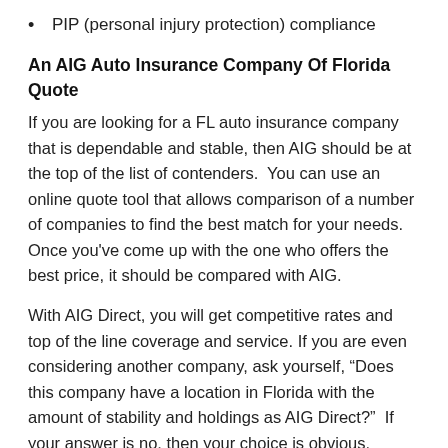PIP (personal injury protection) compliance
An AIG Auto Insurance Company Of Florida Quote
If you are looking for a FL auto insurance company that is dependable and stable, then AIG should be at the top of the list of contenders.  You can use an online quote tool that allows comparison of a number of companies to find the best match for your needs. Once you’ve come up with the one who offers the best price, it should be compared with AIG.
With AIG Direct, you will get competitive rates and top of the line coverage and service. If you are even considering another company, ask yourself, “Does this company have a location in Florida with the amount of stability and holdings as AIG Direct?”  If your answer is no, then your choice is obvious.